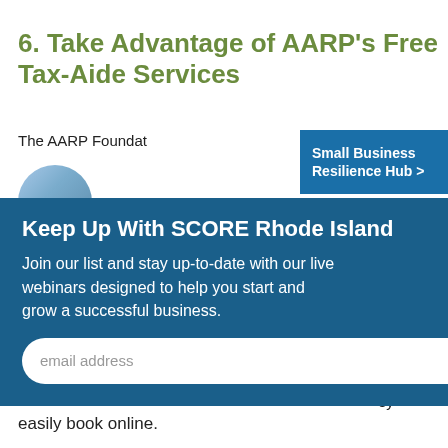6. Take Advantage of AARP's Free Tax-Aide Services
[Figure (photo): Partial circular avatar photo of a person]
The AARP Foundat…
[Figure (other): Blue sidebar button reading 'Small Business Resilience Hub >']
Keep Up With SCORE Rhode Island
Join our list and stay up-to-date with our live webinars designed to help you start and grow a successful business.
share is accurate and up-to-date with any policy changes. Tax-Aide services are available now for 2022 - they serve through appointment only, but you can easily book online.